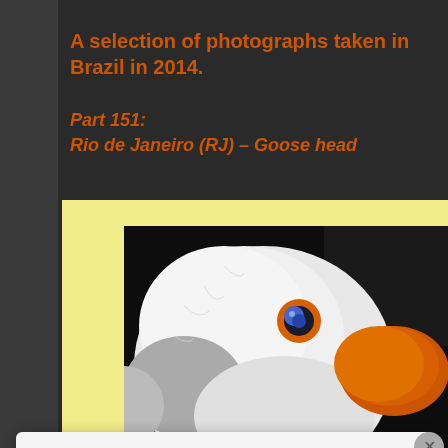A selection of photographs taken in Brazil in 2014.
Part 151:
Rio de Janeiro (RJ) – Goose head
[Figure (photo): Close-up photograph of a white goose head with orange beak and blue eye against a dark background, displayed inside a yellow-bordered frame.]
Privacy & Cookies: This site uses cookies. By continuing to use this website, you agree to their use.
To find out more, including how to control cookies, see here: Cookie Policy
Close and accept